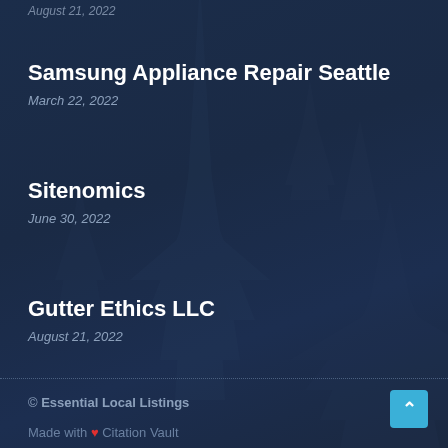August 21, 2022
Samsung Appliance Repair Seattle
March 22, 2022
Sitenomics
June 30, 2022
Gutter Ethics LLC
August 21, 2022
© Essential Local Listings
Made with ❤ Citation Vault